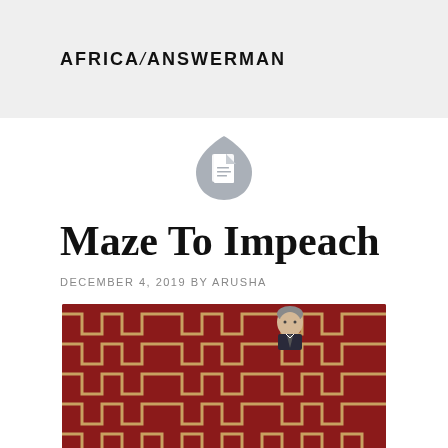AFRICA/ANSWERMAN
[Figure (logo): Document/file icon in grey, teardrop-shield shape with white document icon in center]
Maze To Impeach
DECEMBER 4, 2019 BY ARUSHA
[Figure (photo): A man in a suit visible at the top of a red ornate carpet maze pattern, photographed from above]